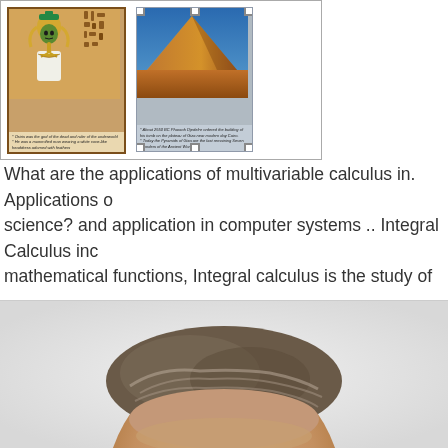[Figure (illustration): Two educational cards side by side: left card shows an Egyptian deity (Osiris) illustration with hieroglyphics and descriptive text below; right card shows a photo of the Great Pyramid of Giza with descriptive text below. Cards are displayed in a presentation/slideshow interface.]
What are the applications of multivariable calculus in. Applications of science? and application in computer systems .. Integral Calculus inc mathematical functions, Integral calculus is the study of mathematica integrals. These integrals, also known as area under the curve, are us
[Figure (photo): Close-up photo of the top of a man's head showing gray/brown hair against a light background.]